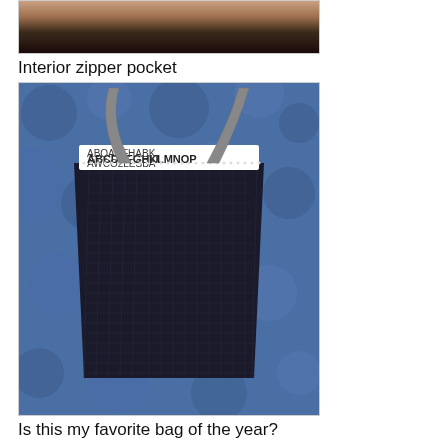[Figure (photo): Top portion of a photo showing hands or dark hair/fabric against a dark background, partially cropped]
Interior zipper pocket
[Figure (photo): A black textured tote bag with gray strap handles, shown open with a black and white lettered fabric lining visible at the top. The bag is photographed against a blue bokeh background.]
Is this my favorite bag of the year?